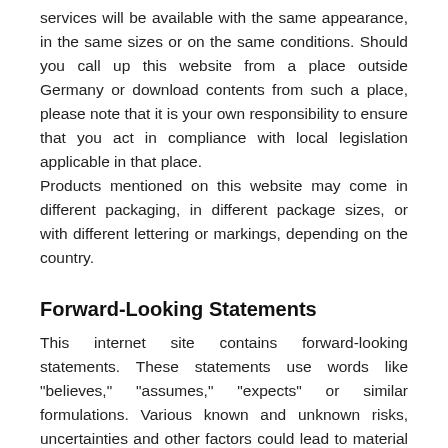services will be available with the same appearance, in the same sizes or on the same conditions. Should you call up this website from a place outside Germany or download contents from such a place, please note that it is your own responsibility to ensure that you act in compliance with local legislation applicable in that place. Products mentioned on this website may come in different packaging, in different package sizes, or with different lettering or markings, depending on the country.
Forward-Looking Statements
This internet site contains forward-looking statements. These statements use words like "believes," "assumes," "expects" or similar formulations. Various known and unknown risks, uncertainties and other factors could lead to material differences between the actual future